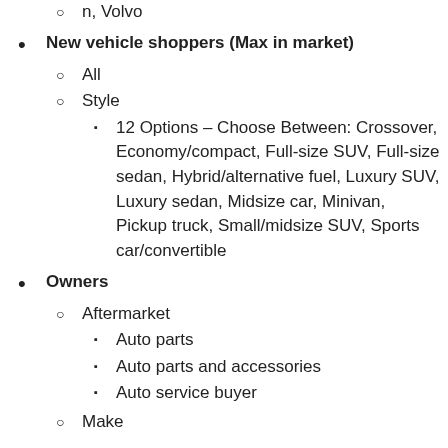n, Volvo (truncated at top)
New vehicle shoppers (Max in market)
All
Style
12 Options – Choose Between: Crossover, Economy/compact, Full-size SUV, Full-size sedan, Hybrid/alternative fuel, Luxury SUV, Luxury sedan, Midsize car, Minivan, Pickup truck, Small/midsize SUV, Sports car/convertible
Owners
Aftermarket
Auto parts
Auto parts and accessories
Auto service buyer
Make